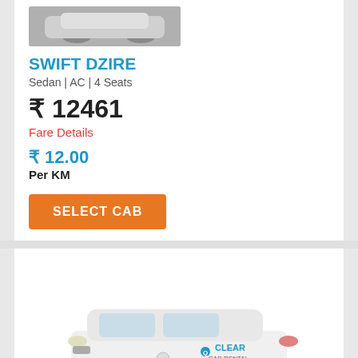SWIFT DZIRE
Sedan | AC | 4 Seats
₹ 12461
Fare Details
₹ 12.00
Per KM
SELECT CAB
[Figure (photo): White Toyota Etios sedan with Clear Car Rental branding on the door]
TOYOTA ETIOS
Sedan | AC | 4 Seats